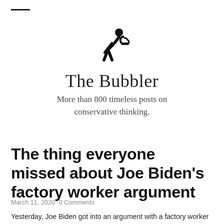[Figure (illustration): Black silhouette icon of a person bowing/leaning forward to drink from a water fountain]
The Bubbler
More than 800 timeless posts on conservative thinking.
The thing everyone missed about Joe Biden's factory worker argument
March 11, 2020  0 Comments
Yesterday, Joe Biden got into an argument with a factory worker in Michigan.